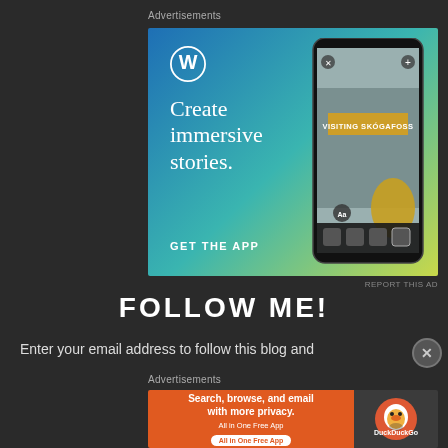Advertisements
[Figure (illustration): WordPress advertisement banner with gradient blue-to-yellow background, WordPress logo (white W in circle), text 'Create immersive stories.' with 'GET THE APP' CTA, and a phone mockup showing a travel blog post titled 'VISITING SKÓGAFOSS']
REPORT THIS AD
FOLLOW ME!
Enter your email address to follow this blog and
Advertisements
[Figure (illustration): DuckDuckGo advertisement banner with orange left panel showing 'Search, browse, and email with more privacy. All in One Free App' and dark right panel showing DuckDuckGo duck logo]